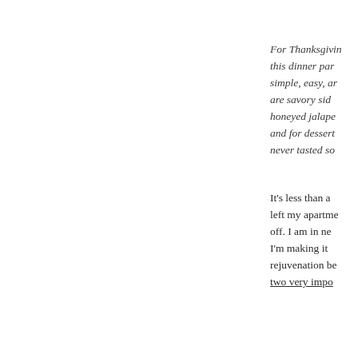For Thanksgiving, this dinner par- simple, easy, ar- are savory sid- honeyed jalape- and for dessert never tasted so
It’s less than a left my apartme- off. I am in ne- I'm making it rejuvenation be- two very impo-